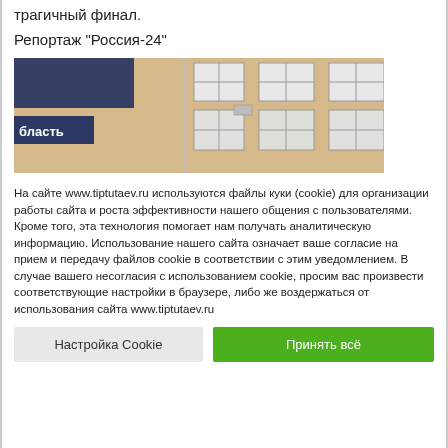трагичный финал.
Репортаж "Россия-24"
[Figure (screenshot): Video thumbnail showing the exterior of a building with windows and a TV broadcast overlay with the text 'бласть' in the bottom left corner.]
На сайте www.tiptutaev.ru используются файлы куки (cookie) для организации работы сайта и роста эффективности нашего общения с пользователями. Кроме того, эта технология помогает нам получать аналитическую информацию. Использование нашего сайта означает ваше согласие на прием и передачу файлов cookie в соответствии с этим уведомлением. В случае вашего несогласия с использованием cookie, просим вас произвести соответствующие настройки в браузере, либо же воздержаться от использования сайта www.tiptutaev.ru
Настройка Cookie
Принять всё